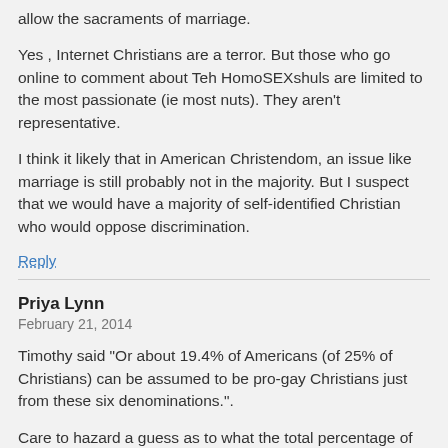allow the sacraments of marriage.
Yes , Internet Christians are a terror. But those who go online to comment about Teh HomoSEXshuls are limited to the most passionate (ie most nuts). They aren't representative.
I think it likely that in American Christendom, an issue like marriage is still probably not in the majority. But I suspect that we would have a majority of self-identified Christian who would oppose discrimination.
Reply
Priya Lynn
February 21, 2014
Timothy said "Or about 19.4% of Americans (of 25% of Christians) can be assumed to be pro-gay Christians just from these six denominations.".
Care to hazard a guess as to what the total percentage of christians is who are 100% pro-gay?
Reply